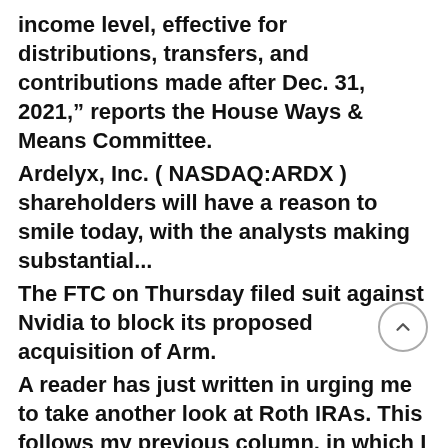income level, effective for distributions, transfers, and contributions made after Dec. 31, 2021," reports the House Ways & Means Committee.
Ardelyx, Inc. ( NASDAQ:ARDX ) shareholders will have a reason to smile today, with the analysts making substantial...
The FTC on Thursday filed suit against Nvidia to block its proposed acquisition of Arm.
A reader has just written in urging me to take another look at Roth IRAs. This follows my previous column, in which I said I was wary of them, partly because I figured I'd be paying a lower tax rate in retirement than I am while I'm working. "The tax rate is not the issue with the argument for tax..."